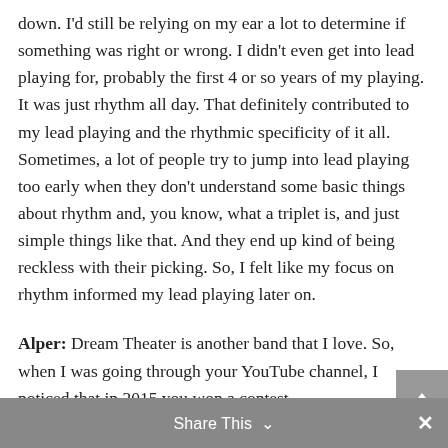down. I'd still be relying on my ear a lot to determine if something was right or wrong. I didn't even get into lead playing for, probably the first 4 or so years of my playing. It was just rhythm all day. That definitely contributed to my lead playing and the rhythmic specificity of it all. Sometimes, a lot of people try to jump into lead playing too early when they don't understand some basic things about rhythm and, you know, what a triplet is, and just simple things like that. And they end up kind of being reckless with their picking. So, I felt like my focus on rhythm informed my lead playing later on.
Alper: Dream Theater is another band that I love. So, when I was going through your YouTube channel, I noticed that in 2015 you won a contest
Share This ∨  ✕